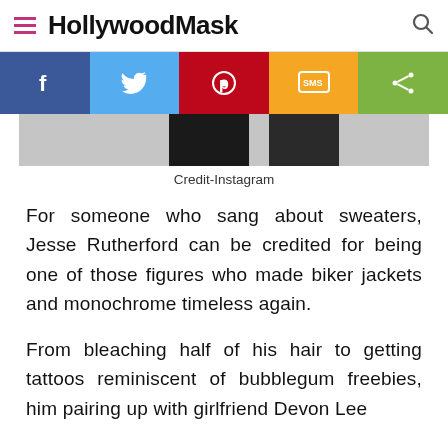HollywoodMask
[Figure (screenshot): Social share bar with Facebook, Twitter, Pinterest, SMS, and Share buttons]
[Figure (photo): Partial photo credit-Instagram image showing dark clothing]
Credit-Instagram
For someone who sang about sweaters, Jesse Rutherford can be credited for being one of those figures who made biker jackets and monochrome timeless again.
From bleaching half of his hair to getting tattoos reminiscent of bubblegum freebies, him pairing up with girlfriend Devon Lee